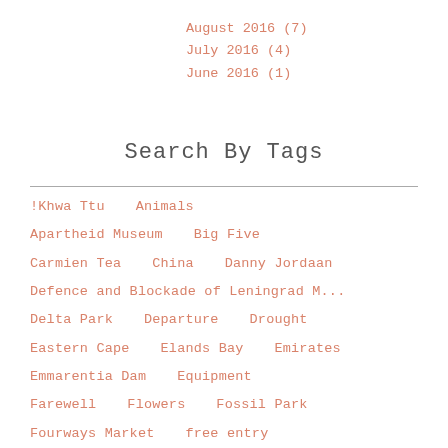August 2016 (7)
July 2016 (4)
June 2016 (1)
Search By Tags
!Khwa Ttu   Animals
Apartheid Museum   Big Five
Carmien Tea   China   Danny Jordaan
Defence and Blockade of Leningrad M...
Delta Park   Departure   Drought
Eastern Cape   Elands Bay   Emirates
Emmarentia Dam   Equipment
Farewell   Flowers   Fossil Park
Fourways Market   free entry
Game spotting   Gauteng